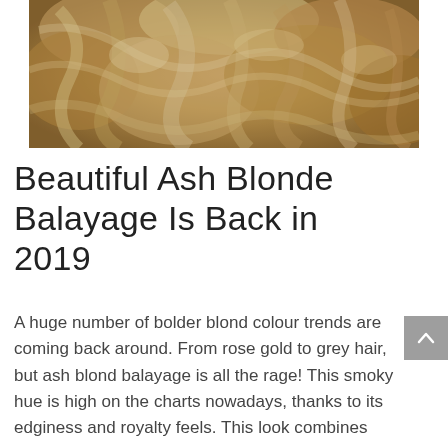[Figure (photo): Close-up photo of curly ash blonde balayage hair with golden and light brown tones]
Beautiful Ash Blonde Balayage Is Back in 2019
A huge number of bolder blond colour trends are coming back around. From rose gold to grey hair, but ash blond balayage is all the rage! This smoky hue is high on the charts nowadays, thanks to its edginess and royalty feels. This look combines both balayage and grey hues to create a stunning -in salon option. Ash blonde hair color goes well with cool skin tones